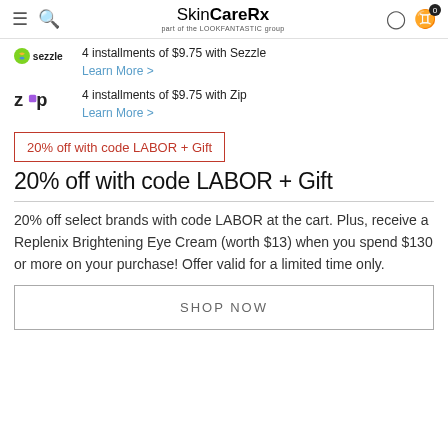SkinCareRx part of the LOOKFANTASTIC group
4 installments of $9.75 with Sezzle Learn More >
4 installments of $9.75 with Zip Learn More >
20% off with code LABOR + Gift
20% off with code LABOR + Gift
20% off select brands with code LABOR at the cart. Plus, receive a Replenix Brightening Eye Cream (worth $13) when you spend $130 or more on your purchase! Offer valid for a limited time only.
SHOP NOW